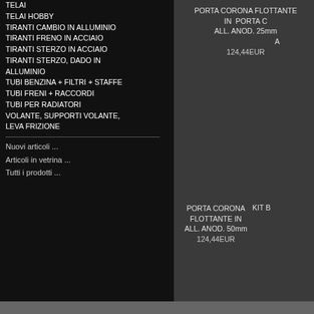TELAI
TELAI HOBBY
TIRANTI CAMBIO IN ALLUMINIO
TIRANTI FRENO IN ACCIAIO
TIRANTI STERZO IN ACCIAIO
TIRANTI STERZO, DADO IN ALLUMINIO
TUBI BENZINA + FILTRI + STAFFE
TUBI FRENI + RACCORDI
TUBI PER RADIATORI
VOLANTE, SUPPORTI VOLANTE, LEVA FRIZIONE
Nuovi articoli ...
Articoli in vetrina ...
Tutti i prodotti ...
PORTA CORONA FLOTTANTE IN ALL. ANOD. 25mm
124,44EUR
PORTA CORONA FLOTTANTE IN ALL. ANOD. 50mm
124,44EUR
KIT B